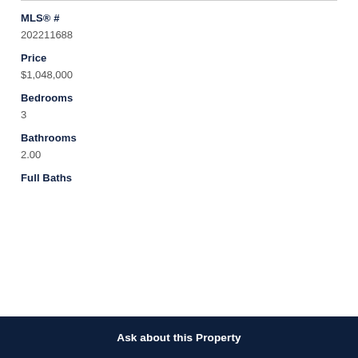MLS® #
202211688
Price
$1,048,000
Bedrooms
3
Bathrooms
2.00
Full Baths
Ask about this Property